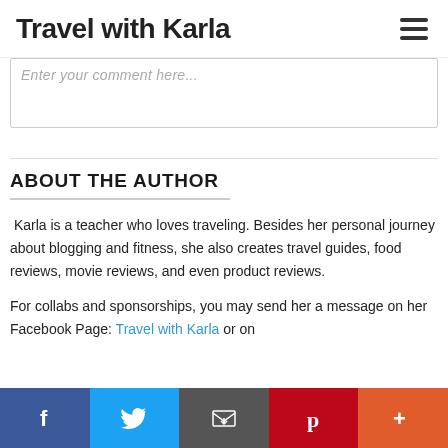Travel with Karla
[Figure (screenshot): Comment text input box with placeholder text 'Enter your comment here...']
ABOUT THE AUTHOR
Karla is a teacher who loves traveling. Besides her personal journey about blogging and fitness, she also creates travel guides, food reviews, movie reviews, and even product reviews.
For collabs and sponsorships, you may send her a message on her Facebook Page: Travel with Karla or on
[Figure (infographic): Social share bar with Facebook (blue), Twitter (light blue), Email (dark gray), Pinterest (red), and More (orange-red) buttons]